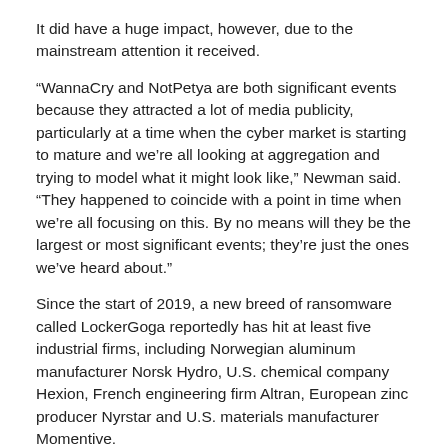It did have a huge impact, however, due to the mainstream attention it received.
“WannaCry and NotPetya are both significant events because they attracted a lot of media publicity, particularly at a time when the cyber market is starting to mature and we’re all looking at aggregation and trying to model what it might look like,” Newman said. “They happened to coincide with a point in time when we’re all focusing on this. By no means will they be the largest or most significant events; they’re just the ones we’ve heard about.”
Since the start of 2019, a new breed of ransomware called LockerGoga reportedly has hit at least five industrial firms, including Norwegian aluminum manufacturer Norsk Hydro, U.S. chemical company Hexion, French engineering firm Altran, European zinc producer Nyrstar and U.S. materials manufacturer Momentive.
PCS has designated the Norsk Hydro attack as an individual risk loss, which it defines as having insured losses in excess of $20 million. PCS is monitoring the other four companies.
“Norsk Hydro won’t be one of the largest losses. It’ll be significant, but not one of the largest PCS has seen since 2013,” Johansmeyer